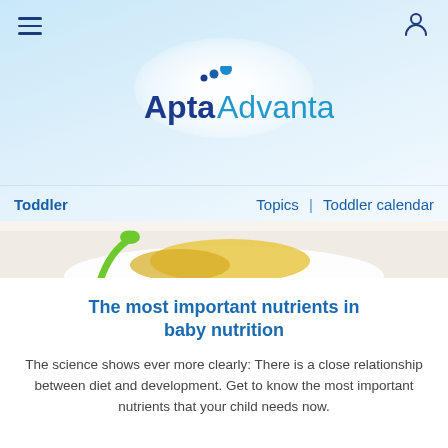≡  [user icon]
[Figure (logo): AptaAdvantage logo with three ascending dots above 'Apta' in dark blue and 'Advantage.' in light blue, on a white glow background]
Toddler    Topics  |  Toddler calendar
[Figure (photo): Close-up photo of a toddler food plate with corn and a green spoon on a white high-chair tray]
The most important nutrients in baby nutrition
The science shows ever more clearly: There is a close relationship between diet and development. Get to know the most important nutrients that your child needs now.